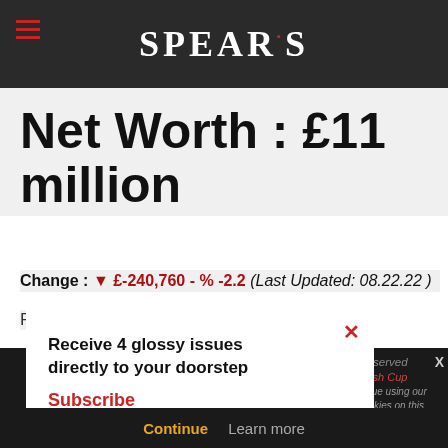SPEAR'S
Net Worth : £11 million
Change : ▼ £-240,760 - % -2.2 (Last Updated: 08.22.22 )
Football Player
Receive 4 glossy issues directly to your doorstep
Subscribe
Continue    Learn more